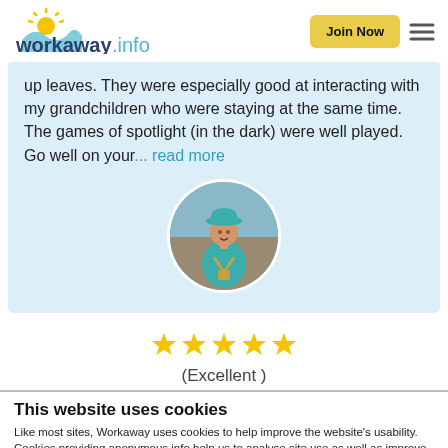workaway.info — Join Now
up leaves. They were especially good at interacting with my grandchildren who were staying at the same time. The games of spotlight (in the dark) were well played. Go well on your... read more
[Figure (photo): Circular profile photo of a person in a teal/blue hat and outfit outdoors]
★★★★★ (Excellent)
This website uses cookies
Like most sites, Workaway uses cookies to help improve the website's usability. Cookies providing anonymous info help us to analyse site use as well as improve content and present social media features.  You consent to our cookies if you continue to use our website.
OK   Settings ▾